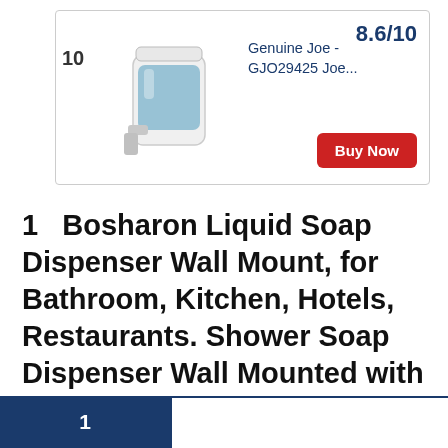[Figure (photo): Product card showing a white and blue soap dispenser with rank 10, name 'Genuine Joe - GJO29425 Joe...', score 8.6/10, and a red Buy Now button]
1   Bosharon Liquid Soap Dispenser Wall Mount, for Bathroom, Kitchen, Hotels, Restaurants. Shower Soap Dispenser Wall Mounted with Adhesive 300 ML (Silver Single Chamber)
1